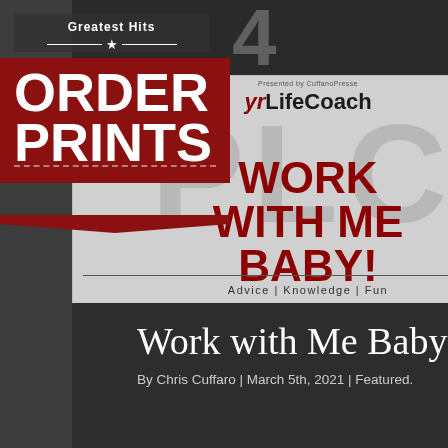[Figure (illustration): Magazine cover showing 'Work With Me Baby!' in dark red bold text on a light gray background, with 'yrLifeCoach' header and 'Advice | Knowledge | Fun' tagline. Overlaid with a 'Greatest Hits - ORDER PRINTS' red badge/ribbon in upper left corner.]
Work with Me Baby!
By Chris Cuffaro | March 5th, 2021 | Featured.